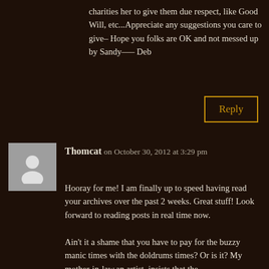charities her to give them due respect, like Good Will, etc...Appreciate any suggestions you care to give– Hope you folks are OK and not messed up by Sandy—– Deb
Reply
[Figure (illustration): Generic user avatar silhouette on grey background]
Thomcat on October 30, 2012 at 3:29 pm
Hooray for me! I am finally up to speed having read your archives over the past 2 weeks. Great stuff! Look forward to reading posts in real time now.
Ain't it a shame that you have to pay for the buzzy manic times with the doldrums times? Or is it? My mother-in-law,an artist, insists that the